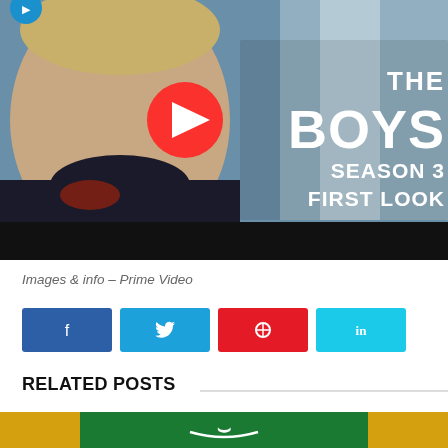[Figure (screenshot): YouTube video thumbnail for The Boys Season 3 First Look, showing a smiling man with a YouTube play button overlay and text reading THE BOYS SEASON 3 FIRST LOOK]
Images & info – Prime Video
[Figure (infographic): Social share buttons: Facebook (blue), Twitter (light blue), Pinterest (red), LinkedIn (light blue)]
RELATED POSTS
[Figure (photo): Bottom strip showing Amazon Prime Video related content with Amazon logo]